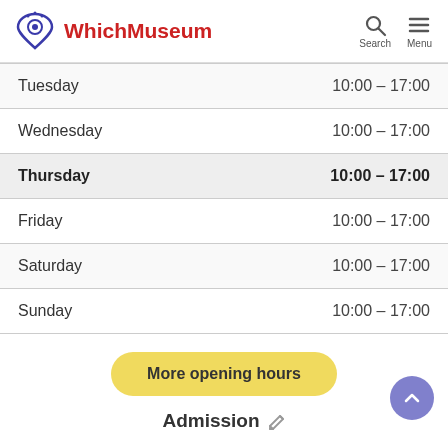WhichMuseum — Search, Menu
| Day | Hours |
| --- | --- |
| Tuesday | 10:00 – 17:00 |
| Wednesday | 10:00 – 17:00 |
| Thursday | 10:00 – 17:00 |
| Friday | 10:00 – 17:00 |
| Saturday | 10:00 – 17:00 |
| Sunday | 10:00 – 17:00 |
More opening hours
Admission